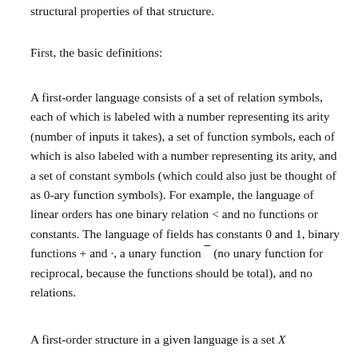structural properties of that structure.
First, the basic definitions:
A first-order language consists of a set of relation symbols, each of which is labeled with a number representing its arity (number of inputs it takes), a set of function symbols, each of which is also labeled with a number representing its arity, and a set of constant symbols (which could also just be thought of as 0-ary function symbols). For example, the language of linear orders has one binary relation < and no functions or constants. The language of fields has constants 0 and 1, binary functions + and ·, a unary function ¯ (no unary function for reciprocal, because the functions should be total), and no relations.
A first-order structure in a given language is a set X